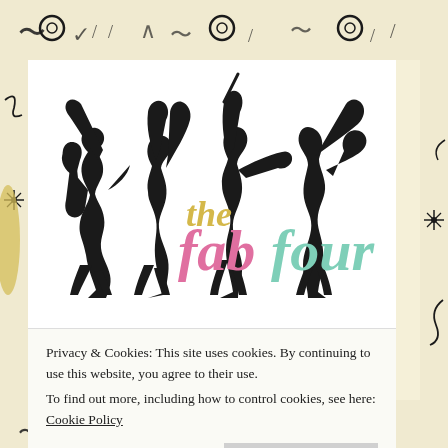[Figure (logo): The Fab Four logo with silhouettes of four musicians with instruments, 'the' in yellow italic, 'fab' in pink bold italic, 'four' in mint/teal bold italic]
Privacy & Cookies: This site uses cookies. By continuing to use this website, you agree to their use.
To find out more, including how to control cookies, see here: Cookie Policy
Close and accept